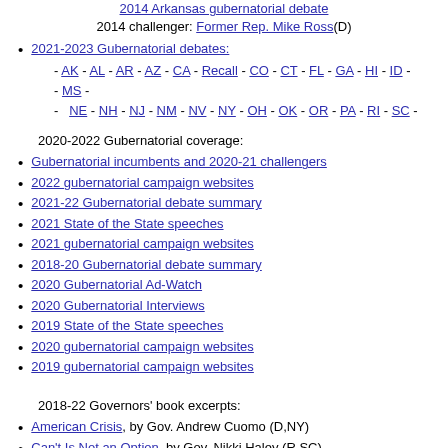2014 Arkansas gubernatorial debate
2014 challenger: Former Rep. Mike Ross(D)
2021-2023 Gubernatorial debates:
AK - AL - AR - AZ - CA - Recall - CO - CT - FL - GA - HI - ID - - MS -
NE - NH - NJ - NM - NV - NY - OH - OK - OR - PA - RI - SC -
2020-2022 Gubernatorial coverage:
Gubernatorial incumbents and 2020-21 challengers
2022 gubernatorial campaign websites
2021-22 Gubernatorial debate summary
2021 State of the State speeches
2021 gubernatorial campaign websites
2018-20 Gubernatorial debate summary
2020 Gubernatorial Ad-Watch
2020 Gubernatorial Interviews
2019 State of the State speeches
2020 gubernatorial campaign websites
2019 gubernatorial campaign websites
2018-22 Governors' book excerpts:
American Crisis, by Gov. Andrew Cuomo (D,NY)
Can't Is Not an Option, by Gov. Nikki Haley (R,SC)
Crossroads, by Gov. Andrew Cuomo (D,NY)
Dialogues, by Governor Jerry Brown (D,CA)
From Power to Purpose, by Gov. Sam Brownback (R,KS)
Governor's Travels, by Gov. Angus King (I,ME)
Leadership and Crisis, by Gov. Bobby Jindal (R,LA)
The Opposite of Woe, by Gov. John Hickenlooper (D,CO)
A Reason to Believe, by Gov. Deval Patrick (D,MA)
Romney: An Inside Look, about Gov. Mitt Romney (R,MA)